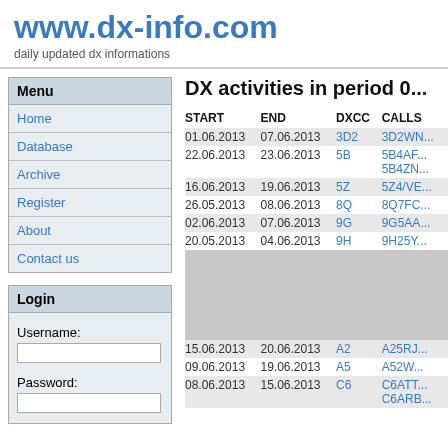www.dx-info.com
daily updated dx informations
Menu
Home
Database
Archive
Register
About
Contact us
Login
Username:
Password:
DX activities in period 0...
| START | END | DXCC | CALLS |
| --- | --- | --- | --- |
| 01.06.2013 | 07.06.2013 | 3D2 | 3D2WN... |
| 22.06.2013 | 23.06.2013 | 5B | 5B4AF...
5B4ZN... |
| 16.06.2013 | 19.06.2013 | 5Z | 5Z4/VE... |
| 26.05.2013 | 08.06.2013 | 8Q | 8Q7FC... |
| 02.06.2013 | 07.06.2013 | 9G | 9G5AA... |
| 20.05.2013 | 04.06.2013 | 9H | 9H25Y... |
| 15.06.2013 | 20.06.2013 | A2 | A25RJ... |
| 09.06.2013 | 19.06.2013 | A5 | A52W... |
| 08.06.2013 | 15.06.2013 | C6 | C6ATT...
C6ARB... |